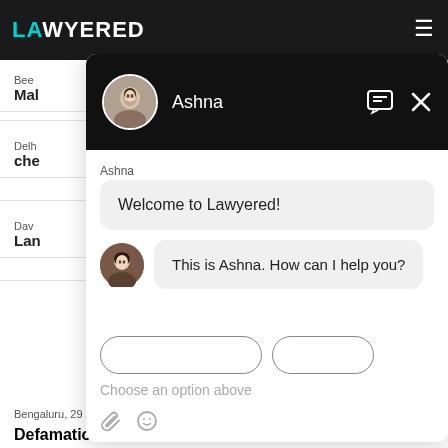[Figure (screenshot): Lawyered website with a chat widget overlay. The chat widget shows an assistant named Ashna with messages: 'Welcome to Lawyered!' and 'This is Ashna. How can I help you?' with an input area saying 'Choose an option above'. The background shows a legal services directory listing page.]
Welcome to Lawyered!
This is Ashna. How can I help you?
Choose an option above
Bengaluru,  29 Jun, 2022,  (2 months ago)
Defamation Issue